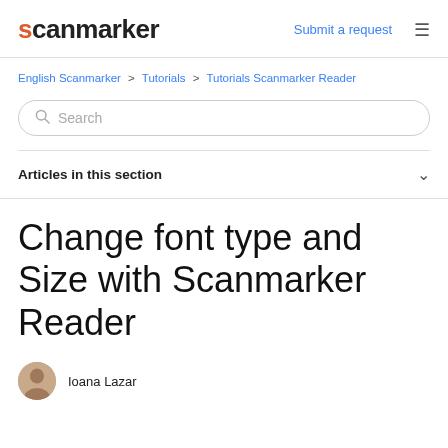scanmarker | Submit a request ≡
English Scanmarker > Tutorials > Tutorials Scanmarker Reader
Search
Articles in this section
Change font type and Size with Scanmarker Reader
Ioana Lazar